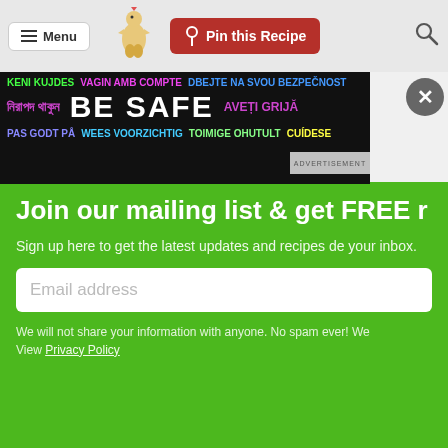Menu | Pin this Recipe
[Figure (screenshot): BE SAFE multilingual safety advertisement banner in black background with colorful text in multiple languages]
Join our mailing list & get FREE r
Sign up here to get the latest updates and recipes delivered to your inbox.
Email address
We will not share your information with anyone. No spam ever! We... View Privacy Policy
Plain Chicken
Glad you enjoyed it!!